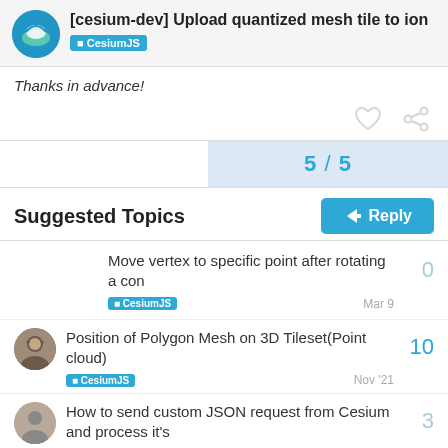[cesium-dev] Upload quantized mesh tile to ion — CesiumJS
Thanks in advance!
5 / 5
Suggested Topics
Move vertex to specific point after rotating a con — CesiumJS — Mar 9 — 0 replies
Position of Polygon Mesh on 3D Tileset(Point cloud) — CesiumJS — Nov '21 — 10 replies
How to send custom JSON request from Cesium and process it's — 3 replies